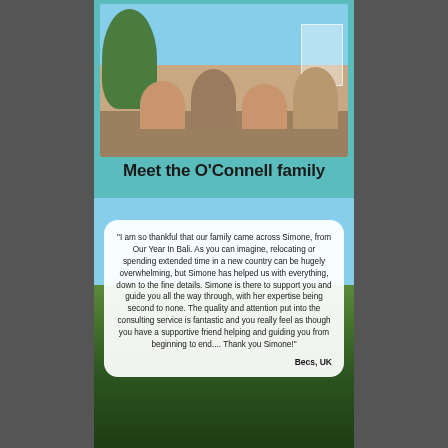[Figure (photo): Family photo of the O'Connell family — two adults and two children sitting on outdoor steps with greenery in the background, teal background card]
Meet the O'Connell family
[Figure (photo): Rice terraces in Bali under blue sky with a white rounded testimonial quote box overlaid on top]
"I am so thankful that our family came across Simone, from Our Year In Bali. As you can imagine, relocating or spending extended time in a new country can be hugely overwhelming, but Simone has helped us with everything, down to the fine details. Simone is there to support you and guide you all the way through, with her expertise being second to none. The quality and attention put into the consulting service is fantastic and you really feel as though you have a supportive friend helping and guiding you from beginning to end.... Thank you Simone!"
Becs, UK